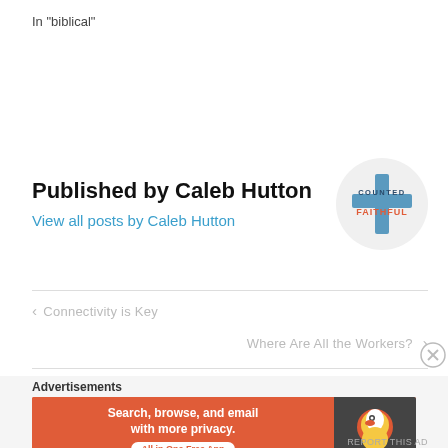In "biblical"
Published by Caleb Hutton
View all posts by Caleb Hutton
[Figure (logo): Counted Faithful logo — circular grey background with a blue cross and text COUNTED FAITHFUL in blue and red]
< Connectivity is Key
Where Are All the Workers? >
Advertisements
[Figure (screenshot): DuckDuckGo advertisement banner: orange background with text 'Search, browse, and email with more privacy. All in One Free App' and DuckDuckGo logo on dark right panel]
REPORT THIS AD